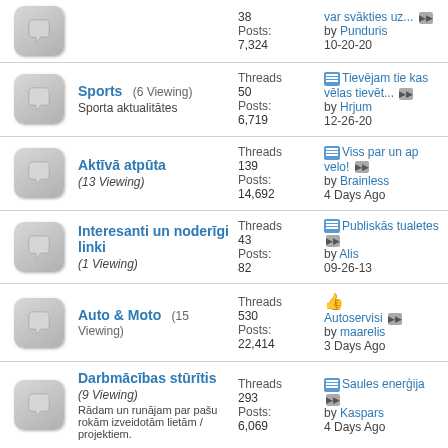Sports (6 Viewing) - Sporta aktualitātes - Threads: 50, Posts: 6,719 - Tievējam tie kas vēlas tievēt... by Hrjum 12-26-20
Aktīvā atpūta (13 Viewing) - Threads: 139, Posts: 14,692 - Viss par un ap velo! by Brainless 4 Days Ago
Interesanti un noderīgi linki (1 Viewing) - Threads: 43, Posts: 82 - Publiskās tualetes by Alis 09-26-13
Auto & Moto (15 Viewing) - Threads: 530, Posts: 22,414 - Autoservisi by maarelis 3 Days Ago
Darbmācības stūrītis (9 Viewing) - Rādam un runājam par pašu rokām izveidotām lietām / projektiem. - Threads: 293, Posts: 6,069 - Saules enerģija by Kaspars 4 Days Ago